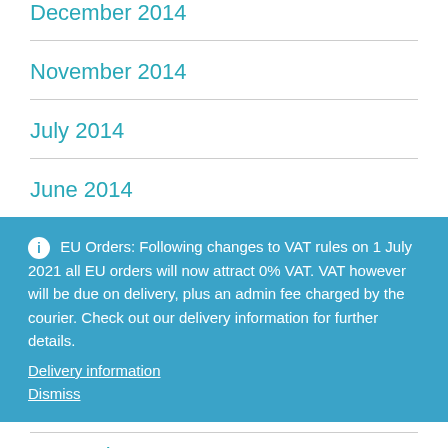December 2014
November 2014
July 2014
June 2014
ℹ EU Orders: Following changes to VAT rules on 1 July 2021 all EU orders will now attract 0% VAT. VAT however will be due on delivery, plus an admin fee charged by the courier. Check out our delivery information for further details.
Delivery information
Dismiss
September 2013
We use cookies to personalise content and ads, to provide